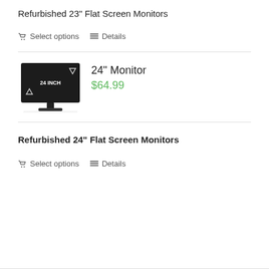Refurbished 23" Flat Screen Monitors
🛒 Select options   ☰ Details
[Figure (illustration): Black flat screen monitor labeled '24 INCH' with triangle icons on screen, shown with stand and reflection below]
24" Monitor
$64.99
Refurbished 24" Flat Screen Monitors
🛒 Select options   ☰ Details